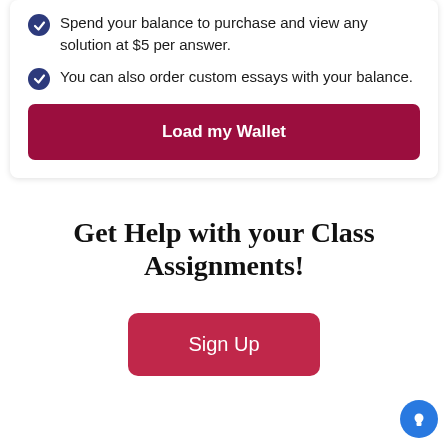Spend your balance to purchase and view any solution at $5 per answer.
You can also order custom essays with your balance.
Load my Wallet
Get Help with your Class Assignments!
Sign Up